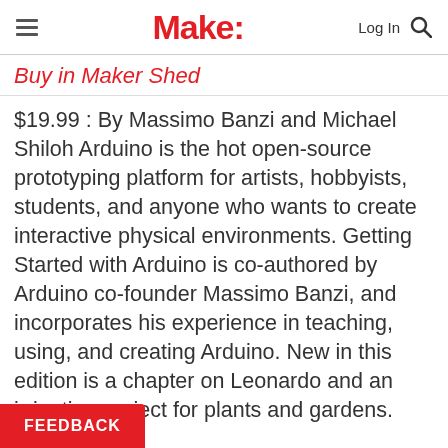Make: | Log In | Search
Buy in Maker Shed
$19.99 : By Massimo Banzi and Michael Shiloh Arduino is the hot open-source prototyping platform for artists, hobbyists, students, and anyone who wants to create interactive physical environments. Getting Started with Arduino is co-authored by Arduino co-founder Massimo Banzi, and incorporates his experience in teaching, using, and creating Arduino. New in this edition is a chapter on Leonardo and an irrigation project for plants and gardens.
FEEDBACK